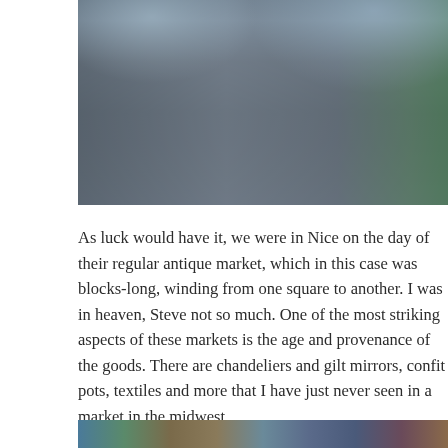[Figure (photo): Outdoor photo of a wide plaza or promenade with people walking, dark paving, and trees/barriers in the background under an overcast sky]
As luck would have it, we were in Nice on the day of their regular antique market, which in this case was blocks-long, winding from one square to another. I was in heaven, Steve not so much. One of the most striking aspects of these markets is the age and provenance of the goods. There are chandeliers and gilt mirrors, confit pots, textiles and more that I have just never seen in a market in the midwest.
[Figure (photo): Partial bottom photo showing colorful market goods or textiles]